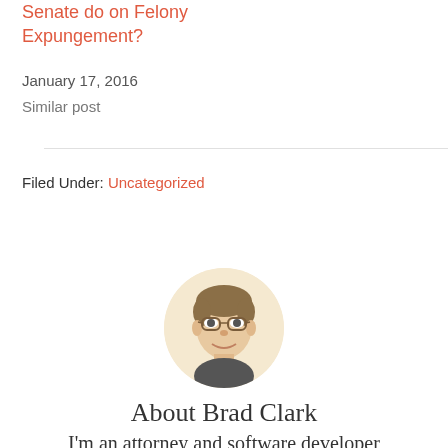Senate do on Felony Expungement?
January 17, 2016
Similar post
Filed Under: Uncategorized
[Figure (photo): Circular headshot photo of Brad Clark, a man wearing glasses, against a warm beige background]
About Brad Clark
I'm an attorney and software developer